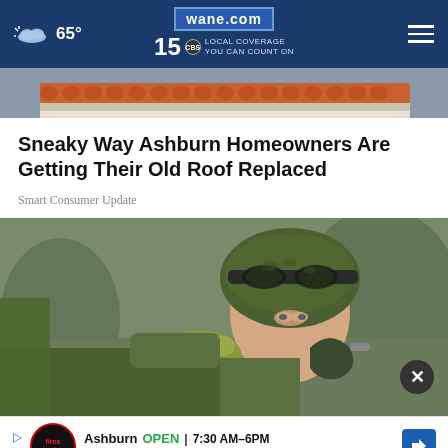65° wane.com 15 LOCAL COVERAGE YOU CAN COUNT ON
[Figure (photo): Partial view of a roof with terracotta tiles and gutters]
Sneaky Way Ashburn Homeowners Are Getting Their Old Roof Replaced
Smart Consumer Update
[Figure (photo): Soldier in green camouflage helmet with tactical goggles drinking from a military canteen]
Ashburn OPEN 7:30 AM–6PM 43781 Parkhurst Plaza, Ashburn